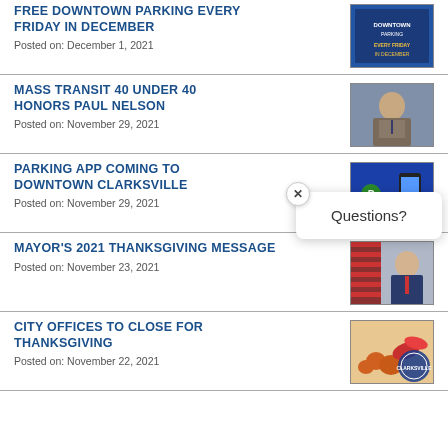FREE DOWNTOWN PARKING EVERY FRIDAY IN DECEMBER
Posted on: December 1, 2021
[Figure (photo): Flyer for free downtown parking event every Friday in December]
MASS TRANSIT 40 UNDER 40 HONORS PAUL NELSON
Posted on: November 29, 2021
[Figure (photo): Photo of Paul Nelson, a man in a suit smiling against a blue background]
PARKING APP COMING TO DOWNTOWN CLARKSVILLE
Posted on: November 29, 2021
[Figure (photo): ParkMobile app promotional image on blue background showing a smartphone with parking app]
MAYOR'S 2021 THANKSGIVING MESSAGE
Posted on: November 23, 2021
[Figure (photo): Photo of the Mayor smiling in front of an American flag]
CITY OFFICES TO CLOSE FOR THANKSGIVING
Posted on: November 22, 2021
[Figure (photo): Thanksgiving holiday themed image with City of Clarksville seal]